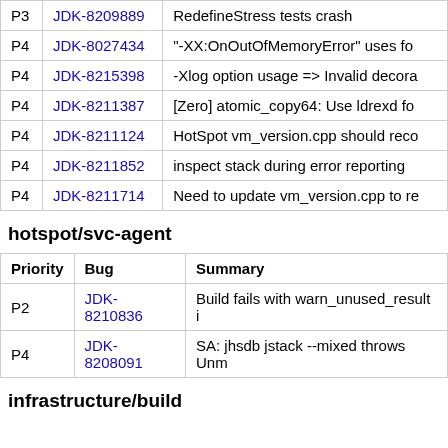| Priority | Bug | Summary |
| --- | --- | --- |
| P3 | JDK-8209889 | RedefineStress tests crash |
| P4 | JDK-8027434 | "-XX:OnOutOfMemoryError" uses fo |
| P4 | JDK-8215398 | -Xlog option usage => Invalid decora |
| P4 | JDK-8211387 | [Zero] atomic_copy64: Use ldrexd fo |
| P4 | JDK-8211124 | HotSpot vm_version.cpp should reco |
| P4 | JDK-8211852 | inspect stack during error reporting |
| P4 | JDK-8211714 | Need to update vm_version.cpp to re |
hotspot/svc-agent
| Priority | Bug | Summary |
| --- | --- | --- |
| P2 | JDK-8210836 | Build fails with warn_unused_result i |
| P4 | JDK-8208091 | SA: jhsdb jstack --mixed throws Unm |
infrastructure/build